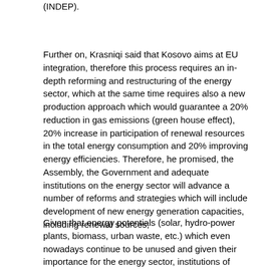(INDEP).
Further on, Krasniqi said that Kosovo aims at EU integration, therefore this process requires an in-depth reforming and restructuring of the energy sector, which at the same time requires also a new production approach which would guarantee a 20% reduction in gas emissions (green house effect), 20% increase in participation of renewal resources in the total energy consumption and 20% improving energy efficiencies. Therefore, he promised, the Assembly, the Government and adequate institutions on the energy sector will advance a number of reforms and strategies which will include development of new energy generation capacities, including renewal sources;
Given that energy potentials (solar, hydro-power plants, biomass, urban waste, etc.) which even nowadays continue to be unused and given their importance for the energy sector, institutions of Kosovo will guarantee a complete legal and